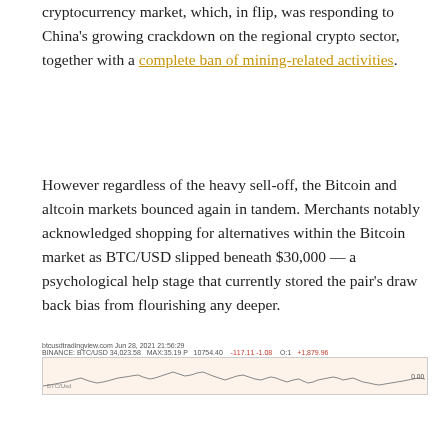cryptocurrency market, which, in flip, was responding to China's growing crackdown on the regional crypto sector, together with a complete ban of mining-related activities.
However regardless of the heavy sell-off, the Bitcoin and altcoin markets bounced again in tandem. Merchants notably acknowledged shopping for alternatives within the Bitcoin market as BTC/USD slipped beneath $30,000 — a psychological help stage that currently stored the pair's draw back bias from flourishing any deeper.
[Figure (continuous-plot): A financial price chart showing BTC/USD price movement over time, displayed with a beige/cream background. The chart shows a line with fluctuating price action. Small text header shows trading data labels including ticker information.]